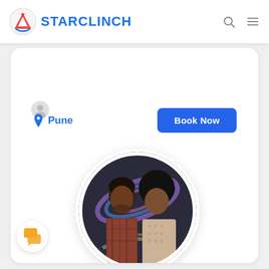STARCLINCH
Pune
Book Now
[Figure (photo): Circular profile photo of the duo 'Dirty Jays' — two men with dark hair against a colorful swirling light background]
Dirty Jays
★ ★ ★ ★ ★